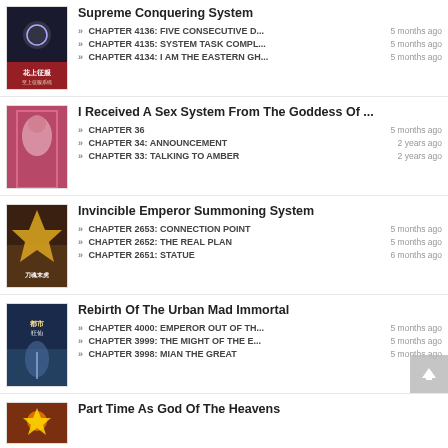Supreme Conquering System
CHAPTER 4136: FIVE CONSECUTIVE D... | 5 months ago
CHAPTER 4135: SYSTEM TASK COMPL... | 5 months ago
CHAPTER 4134: I AM THE EASTERN GH... | 5 months ago
I Received A Sex System From The Goddess Of ...
CHAPTER 36 | 5 months ago
CHAPTER 34: ANNOUNCEMENT | 2 years ago
CHAPTER 33: TALKING TO AMBER | 2 years ago
Invincible Emperor Summoning System
CHAPTER 2653: CONNECTION POINT | 5 months ago
CHAPTER 2652: THE REAL PLAN | 5 months ago
CHAPTER 2651: STATUE | 6 months ago
Rebirth Of The Urban Mad Immortal
CHAPTER 4000: EMPEROR OUT OF TH... | 5 months ago
CHAPTER 3999: THE MIGHT OF THE E... | 5 months ago
CHAPTER 3998: MIAN THE GREAT | 5 months ago
Part Time As God Of The Heavens